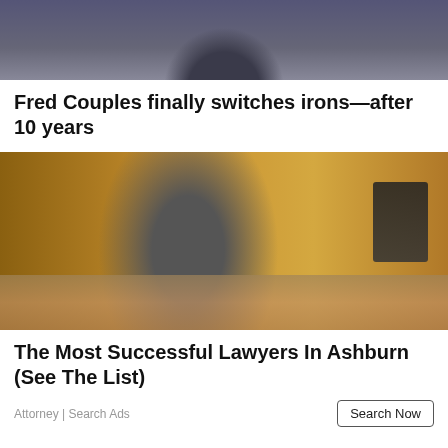[Figure (photo): Partial photo of a person in a blue and grey jacket, cropped at top of page]
Fred Couples finally switches irons—after 10 years
[Figure (photo): Professional photo of a middle-aged man in a dark suit sitting at an office desk with books, papers, a phone, and a computer monitor in a wood-paneled office]
The Most Successful Lawyers In Ashburn (See The List)
Attorney | Search Ads
Search Now